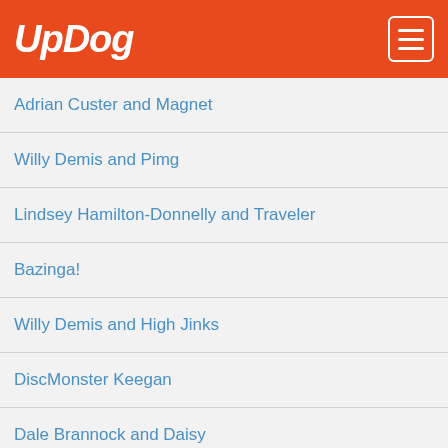UpDog
Adrian Custer and Magnet
Willy Demis and Pimg
Lindsey Hamilton-Donnelly and Traveler
Bazinga!
Willy Demis and High Jinks
DiscMonster Keegan
Dale Brannock and Daisy
Totally Jazmin
Danielle and Ricky
Sara Brueske and Zip Tie
DiscMonster Keegan